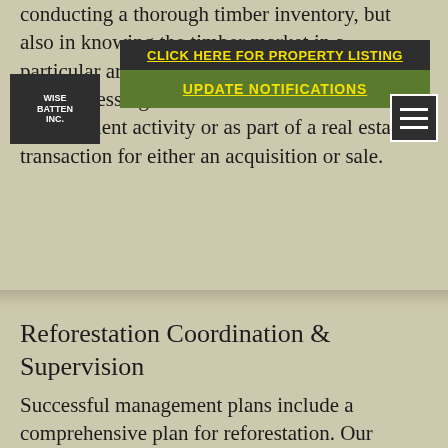conducting a thorough timber inventory, but also in knowing the timber market in a particular area. Having this expertise is critical when assessing the sale of timber as a management activity or as part of a real estate transaction for either an acquisition or sale.
[Figure (logo): Wise Batten Inc. logo in dark background]
CLICK HERE FOR PROPERTY LISTING
UPDATE NOTIFICATIONS
Reforestation Coordination & Supervision
Successful management plans include a comprehensive plan for reforestation. Our